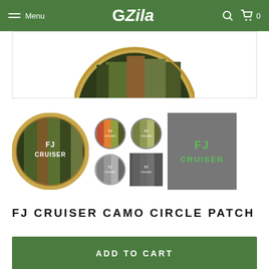Menu | GZila | 0
[Figure (photo): Top partial view of FJ Cruiser camo circle patch with gold/olive border, partially cropped]
[Figure (photo): Product thumbnail gallery: large camo circle patch with FJ CRUISER logo, four smaller circular variants, one square variant, and one large square gray variant with green FJ CRUISER text]
FJ CRUISER CAMO CIRCLE PATCH
ADD TO CART
Description | Shipping